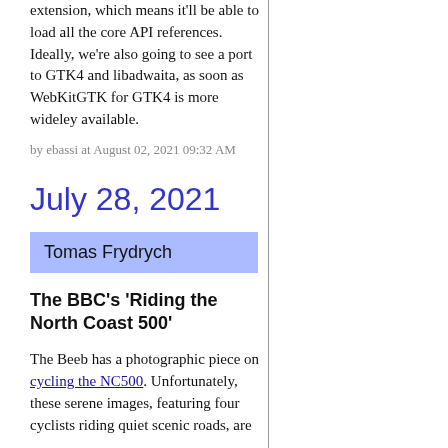extension, which means it'll be able to load all the core API references. Ideally, we're also going to see a port to GTK4 and libadwaita, as soon as WebKitGTK for GTK4 is more wideley available.
by ebassi at August 02, 2021 09:32 AM
July 28, 2021
Tomas Frydrych
The BBC's 'Riding the North Coast 500'
The Beeb has a photographic piece on cycling the NC500. Unfortunately, these serene images, featuring four cyclists riding quiet scenic roads, are